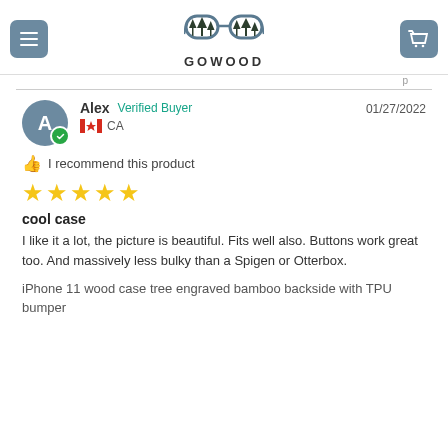GOWOOD
Alex  Verified Buyer  CA  01/27/2022
I recommend this product
★★★★★
cool case
I like it a lot, the picture is beautiful. Fits well also. Buttons work great too. And massively less bulky than a Spigen or Otterbox.
iPhone 11 wood case tree engraved bamboo backside with TPU bumper